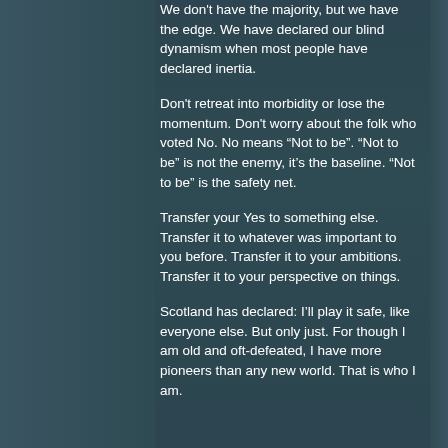We don't have the majority, but we have the edge. We have declared our blind dynamism when most people have declared inertia.
Don't retreat into morbidity or lose the momentum. Don't worry about the folk who voted No. No means “Not to be”. “Not to be” is not the enemy, it’s the baseline. “Not to be” is the safety net.
Transfer your Yes to something else. Transfer it to whatever was important to you before. Transfer it to your ambitions. Transfer it to your perspective on things.
Scotland has declared: I’ll play it safe, like everyone else. But only just. For though I am old and oft-defeated, I have more pioneers than any new world. That is who I am.